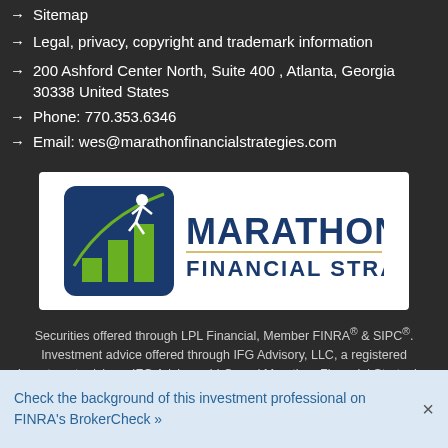→ Sitemap
→ Legal, privacy, copyright and trademark information
→ 200 Ashford Center North, Suite 400 , Atlanta, Georgia 30338 United States
→ Phone: 770.353.6346
→ Email: wes@marathonfinancialstrategies.com
[Figure (logo): Marathon Financial Strategies logo — blue and green bar chart with running figure icon, company name in dark blue text]
Securities offered through LPL Financial, Member FINRA® & SIPC®. Investment advice offered through IFG Advisory, LLC, a registered investment advisor.  IFG Advisory, LLC, and Marathon Financial Strategies are separate entities from LPL Financial.
Check the background of this investment professional on FINRA's BrokerCheck »